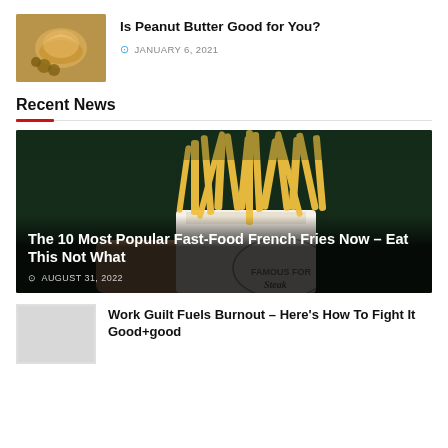[Figure (photo): Photo of peanut butter in a bowl with peanuts]
Is Peanut Butter Good for You?
JANUARY 6, 2021
Recent News
[Figure (photo): Photo of french fries in a cup held by a hand against dark background]
The 10 Most Popular Fast-Food French Fries Now – Eat This Not What
AUGUST 31, 2022
[Figure (photo): Thumbnail image placeholder for Work Guilt article]
Work Guilt Fuels Burnout – Here's How To Fight It Good+good